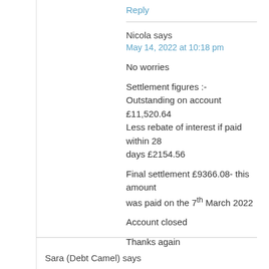Reply
Nicola says
May 14, 2022 at 10:18 pm
No worries
Settlement figures :-
Outstanding on account £11,520.64
Less rebate of interest if paid within 28 days £2154.56
Final settlement £9366.08- this amount was paid on the 7th March 2022
Account closed
Thanks again
Sara (Debt Camel) says